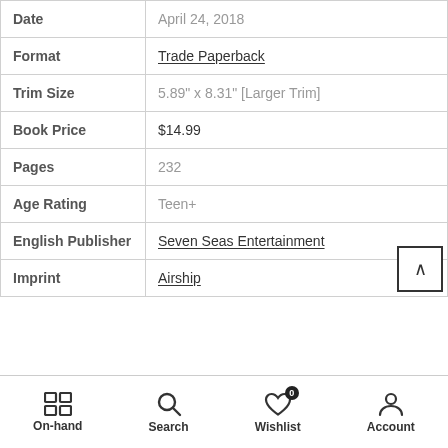| Field | Value |
| --- | --- |
| Date | April 24, 2018 |
| Format | Trade Paperback |
| Trim Size | 5.89" x 8.31" [Larger Trim] |
| Book Price | $14.99 |
| Pages | 232 |
| Age Rating | Teen+ |
| English Publisher | Seven Seas Entertainment |
| Imprint | Airship |